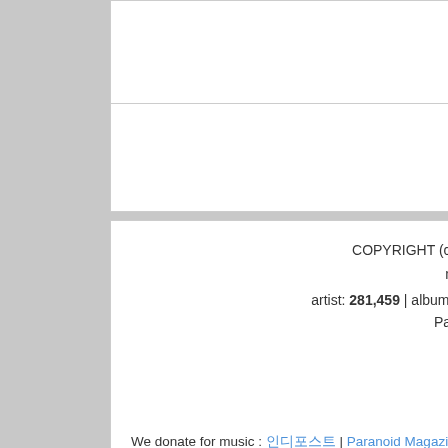TALK
COPYRIGHT (c) 1995 ~ 2022 matia, crevasse, and xfactor's maniadb.com (contact : email)
artist: 281,459 | album: 582,008 | song: 5,463,032 | CC BY-NC-SA 2.0 KR
Page rendered in 0.1612 seconds
[Figure (logo): Award badge: 디지털 음산 어뮤드 2013 선정 사이트]
We donate for music : 인디포스트 | Paranoid Magazine | Jazzpeople Magazine | Jazzpeople Magazine | 재즈 피플! 재즈 음악 잡지
We are sponsored by : YG Entertainment (2022~) | YWMobile (2022) | Bugs (2016~22) | Soribada (2012~16) | NCsoft (2008~12) | Smith&Mobile (2005~08) | KAIST (1995~20??)
But, many big companies still steal our efforts without permission.
About maniadb.com : Wikipedia | Interview @ Ksoundlab